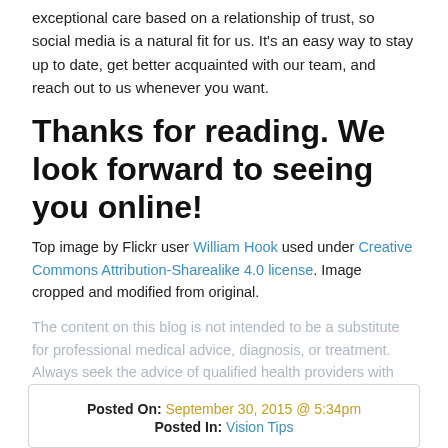exceptional care based on a relationship of trust, so social media is a natural fit for us. It’s an easy way to stay up to date, get better acquainted with our team, and reach out to us whenever you want.
Thanks for reading. We look forward to seeing you online!
Top image by Flickr user William Hook used under Creative Commons Attribution-Sharealike 4.0 license. Image cropped and modified from original.
The content on this blog is not intended to be a substitute for professional medical advice, diagnosis, or treatment. Always seek the advice of qualified health providers with questions you may have regarding medical conditions.
Posted On: September 30, 2015 @ 5:34pm
Posted In: Vision Tips